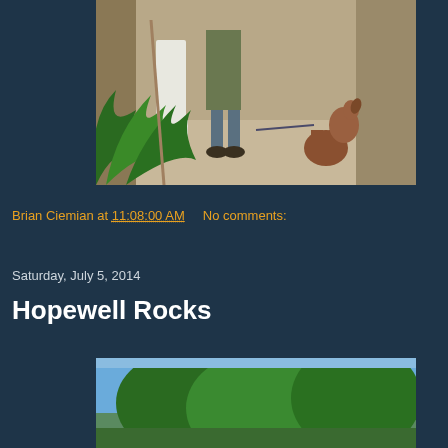[Figure (photo): Two people standing indoors with a dog on a leash; a large green plant in the foreground, light-colored floor visible.]
Brian Ciemian at 11:08:00 AM    No comments:
Share
Saturday, July 5, 2014
Hopewell Rocks
[Figure (photo): Outdoor photo showing trees against a blue sky, partially visible at bottom of page.]